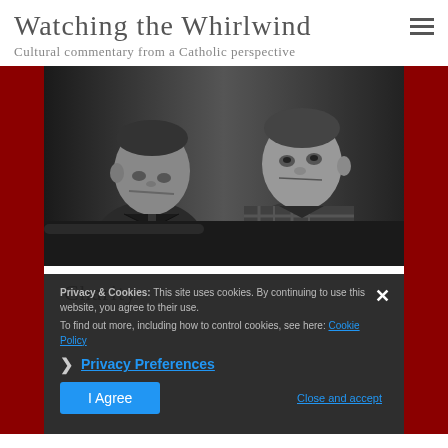Watching the Whirlwind
Cultural commentary from a Catholic perspective
[Figure (photo): Black and white film still showing two men in a car or vehicle interior. The man on the left wears a suit and looks downward; the man on the right wears a plaid/flannel shirt and looks forward.]
Charity
Privacy & Cookies: This site uses cookies. By continuing to use this website, you agree to their use.
To find out more, including how to control cookies, see here: Cookie Policy
Privacy Preferences
I Agree
Close and accept